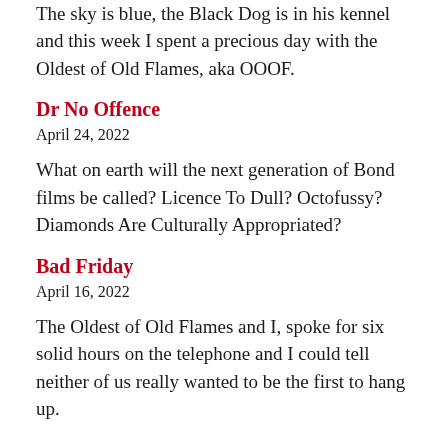The sky is blue, the Black Dog is in his kennel and this week I spent a precious day with the Oldest of Old Flames, aka OOOF.
Dr No Offence
April 24, 2022
What on earth will the next generation of Bond films be called? Licence To Dull? Octofussy? Diamonds Are Culturally Appropriated?
Bad Friday
April 16, 2022
The Oldest of Old Flames and I, spoke for six solid hours on the telephone and I could tell neither of us really wanted to be the first to hang up.